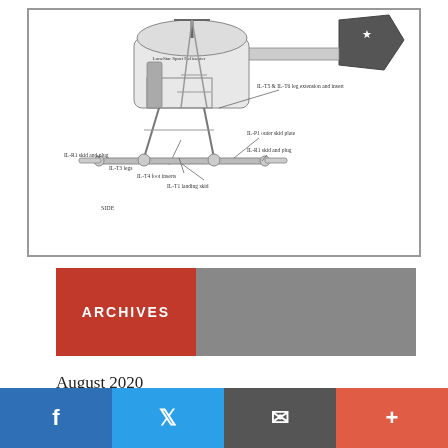[Figure (engineering-diagram): Side-view engineering schematic of a LoneStar Sport Helicopter showing landing skid components including IL-T5 and IL-T6 leg extension and insert, IL-P1 outer skid plate, IL-R1 skid and plug, IL-T3 legs, IL-T4 foot inserts, and IL-T1 landing skid. Labeled 'SIDE' at bottom left.]
ARCHIVES
August 2020
April 2020
March 2020
February 2020
December 2019
August 2019